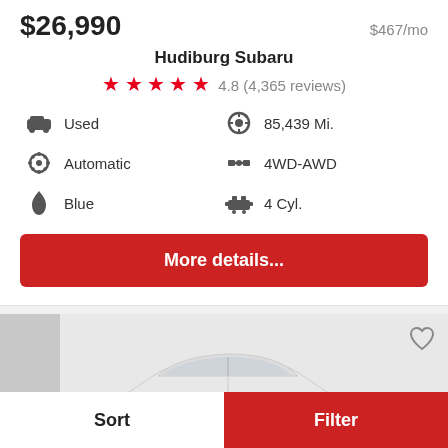$26,990   $467/mo
Hudiburg Subaru
★★★★★ 4.8 (4,365 reviews)
Used
85,439 Mi.
Automatic
4WD-AWD
Blue
4 Cyl.
More details...
[Figure (photo): White sedan car photo on light gray background]
Sort
Filter